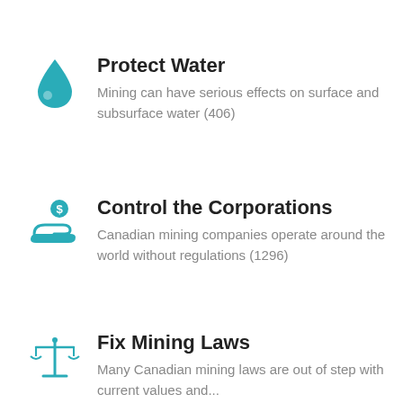[Figure (illustration): Teal water drop icon]
Protect Water
Mining can have serious effects on surface and subsurface water (406)
[Figure (illustration): Teal hand with dollar sign icon representing corporate money]
Control the Corporations
Canadian mining companies operate around the world without regulations (1296)
[Figure (illustration): Teal scales of justice icon]
Fix Mining Laws
Many Canadian mining laws are out of step with current values and...